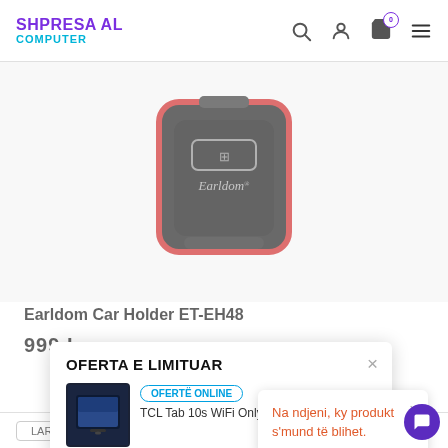SHPRESA AL COMPUTER
[Figure (photo): Earldom car holder product photo, black device with red trim and Earldom logo, viewed from above on a light grey background]
Earldom Car Holder ET-EH48
999 L (price, partially visible)
OFERTA E LIMITUAR
[Figure (photo): Small thumbnail of a tablet product (TCL Tab) with blue/dark screen shown in the offer popup]
OFERTË ONLINE
TCL Tab 10s WiFi Only
Na ndjeni, ky produkt s'mund të blihet.
LARJE